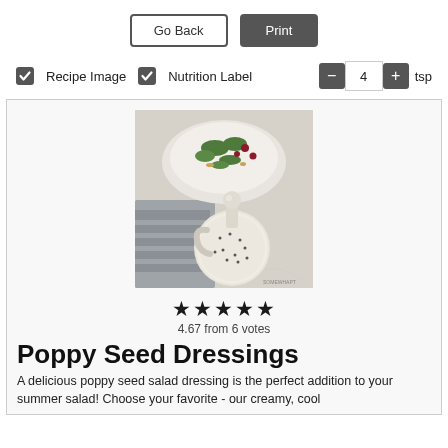Go Back | Print
Recipe Image  Nutrition Label  — 4 + tsp
[Figure (photo): A glass bottle of poppy seed dressing in front of a white bowl of salad with greens, cranberries and nuts on a marble surface with a grey cloth]
★★★★★
4.67 from 6 votes
Poppy Seed Dressings
A delicious poppy seed salad dressing is the perfect addition to your summer salad! Choose your favorite - our creamy, cool